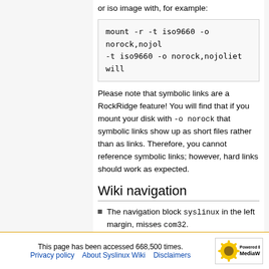or iso image with, for example:
mount -r -t iso9660 -o norock,nojol
-t iso9660 -o norock,nojoliet will
Please note that symbolic links are a RockRidge feature! You will find that if you mount your disk with -o norock that symbolic links show up as short files rather than as links. Therefore, you cannot reference symbolic links; however, hard links should work as expected.
Wiki navigation
The navigation block syslinux in the left margin, misses com32.
The navigation block <bits & bobs> in the left margin, misses a link to the SpinOff page.
This page has been accessed 668,500 times. Privacy policy About Syslinux Wiki Disclaimers